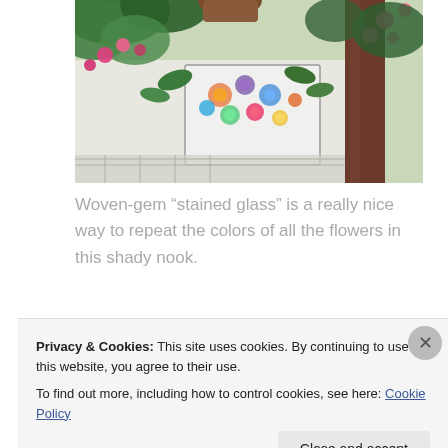[Figure (photo): Photo of a garden nook with hanging flower baskets, lush greenery, and a colorful woven-gem stained glass panel with geometric floral patterns in the background, with a wooden post on the right.]
Woven-gem “stained glass” is a really nice way to repeat the colors of all the flowers in this shady nook.
[Figure (photo): Partial photo of a rural landscape with green trees and shrubs.]
Privacy & Cookies: This site uses cookies. By continuing to use this website, you agree to their use.
To find out more, including how to control cookies, see here: Cookie Policy